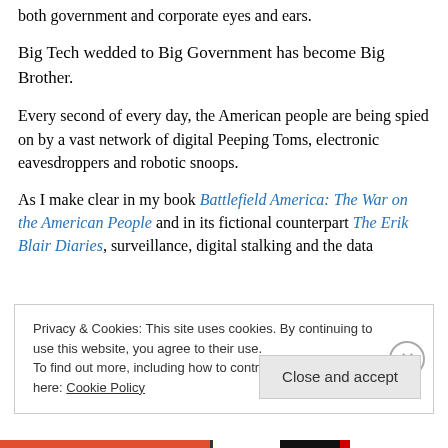both government and corporate eyes and ears.
Big Tech wedded to Big Government has become Big Brother.
Every second of every day, the American people are being spied on by a vast network of digital Peeping Toms, electronic eavesdroppers and robotic snoops.
As I make clear in my book Battlefield America: The War on the American People and in its fictional counterpart The Erik Blair Diaries, surveillance, digital stalking and the data
Privacy & Cookies: This site uses cookies. By continuing to use this website, you agree to their use.
To find out more, including how to control cookies, see here: Cookie Policy
Close and accept